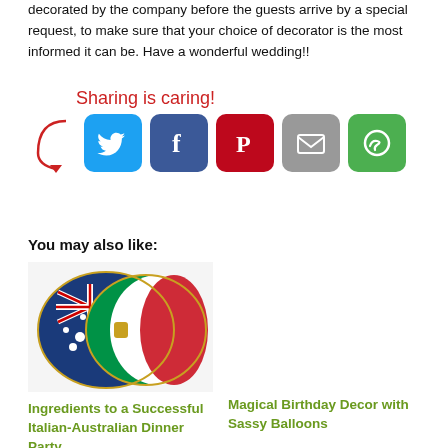decorated by the company before the guests arrive by a special request, to make sure that your choice of decorator is the most informed it can be. Have a wonderful wedding!!
[Figure (infographic): Sharing is caring! social share buttons for Twitter, Facebook, Pinterest, Email, and SMS with a red arrow pointing to them]
You may also like:
[Figure (photo): Pin badge showing crossed Australian and Italian flags]
Ingredients to a Successful Italian-Australian Dinner Party
Magical Birthday Decor with Sassy Balloons